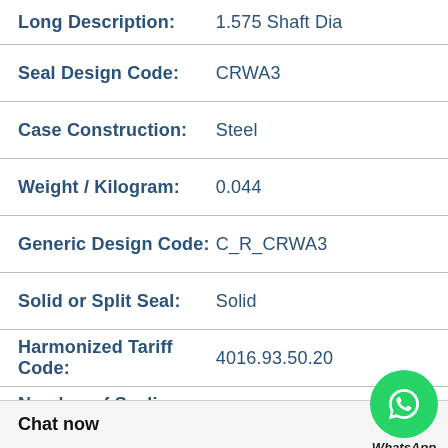| Field | Value |
| --- | --- |
| Long Description: | 1.575 Shaft Dia |
| Seal Design Code: | CRWA3 |
| Case Construction: | Steel |
| Weight / Kilogram: | 0.044 |
| Generic Design Code: | C_R_CRWA3 |
| Solid or Split Seal: | Solid |
| Harmonized Tariff Code: | 4016.93.50.20 |
| Number of Sealing Lips: | 2 |
| Manufacturer Item Number: | 15750 |
[Figure (illustration): WhatsApp Online chat button overlay with green WhatsApp logo circle and italic 'WhatsApp Online' text]
Chat now